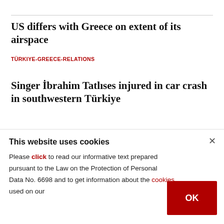US differs with Greece on extent of its airspace
TÜRKIYE-GREECE-RELATIONS
Singer İbrahim Tatlıses injured in car crash in southwestern Türkiye
IBRAHIM-TATLISES
[Figure (photo): Dark outdoor photograph strip, partially visible at bottom of article listing]
This website uses cookies
Please click to read our informative text prepared pursuant to the Law on the Protection of Personal Data No. 6698 and to get information about the cookies used on our